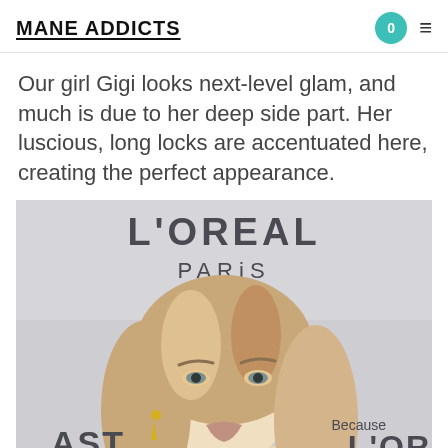MANE ADDICTS
Our girl Gigi looks next-level glam, and much is due to her deep side part. Her luscious, long locks are accentuated here, creating the perfect appearance.
[Figure (photo): Close-up photo of Gigi Hadid at a L'Oreal Paris event, showing her long blonde wavy hair with a deep side part. She is wearing gold earrings. The L'Oreal Paris backdrop is visible behind her.]